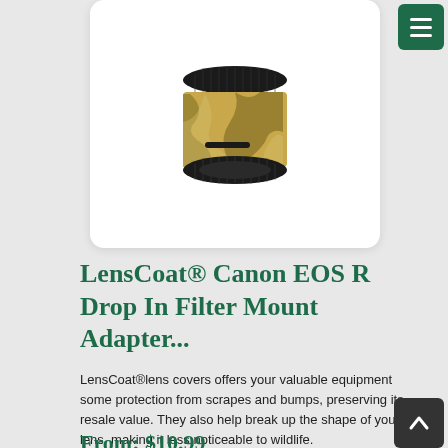[Figure (photo): LensCoat Canon EOS R Drop In Filter Mount Adapter with camouflage pattern wrap, showing top and bottom lens mount rings]
LensCoat® Canon EOS R Drop In Filter Mount Adapter...
LensCoat®lens covers offers your valuable equipment some protection from scrapes and bumps, preserving its resale value. They also help break up the shape of your lens, making it less noticeable to wildlife.
LensCoat for Canon Drop-In Filter Mount Adapter EF-EOS R
From: $10.99